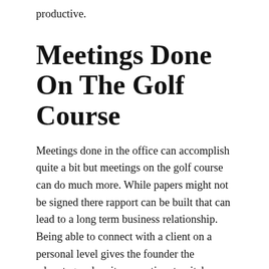productive.
Meetings Done On The Golf Course
Meetings done in the office can accomplish quite a bit but meetings on the golf course can do much more. While papers might not be signed there rapport can be built that can lead to a long term business relationship. Being able to connect with a client on a personal level gives the founder the advantage when it comes time to pitch. There will be some prospects that will sign a contract due to the fact they enjoy working together as they have already done research on multiple companies. Board rooms can have large contracts signed but meeting on the golf course can help those contracts be